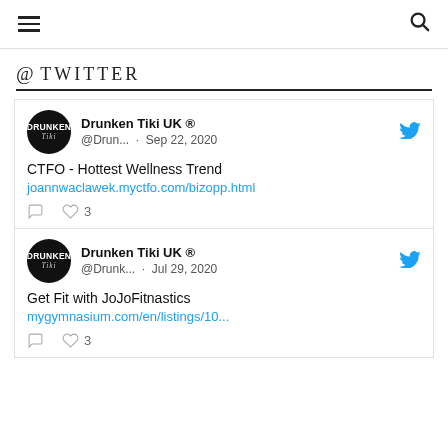☰  🔍
@ TWITTER
Drunken Tiki UK ® @Drun... · Sep 22, 2020
CTFO - Hottest Wellness Trend
joannwaclawek.myctfo.com/bizopp.html
♡ 3
Drunken Tiki UK ® @Drunk... · Jul 29, 2020
Get Fit with JoJoFitnastics
mygymnasium.com/en/listings/10...
♡ 3